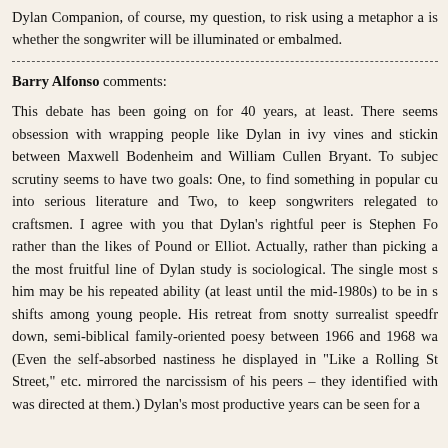Dylan Companion, of course, my question, to risk using a metaphor a is whether the songwriter will be illuminated or embalmed.
Barry Alfonso comments:
This debate has been going on for 40 years, at least. There seems obsession with wrapping people like Dylan in ivy vines and stickin between Maxwell Bodenheim and William Cullen Bryant. To subjec scrutiny seems to have two goals: One, to find something in popular cu into serious literature and Two, to keep songwriters relegated to craftsmen. I agree with you that Dylan’s rightful peer is Stephen Fo rather than the likes of Pound or Elliot. Actually, rather than picking a the most fruitful line of Dylan study is sociological. The single most s him may be his repeated ability (at least until the mid-1980s) to be in s shifts among young people. His retreat from snotty surrealist speedfr down, semi-biblical family-oriented poesy between 1966 and 1968 wa (Even the self-absorbed nastiness he displayed in “Like a Rolling St Street,” etc. mirrored the narcissism of his peers – they identified with was directed at them.) Dylan’s most productive years can be seen for a